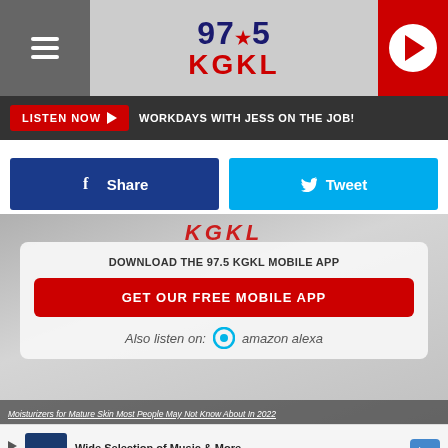97.5 KGKL
LISTEN NOW ▶ WORKDAYS WITH JESS ON THE JOB!
f Share
Tweet
DOWNLOAD THE 97.5 KGKL MOBILE APP
GET OUR FREE MOBILE APP
Also listen on: amazon alexa
Moisturizers for Mature Skin Most People May Not Know About In 2022
Wide Selection of Music & More Books-A-Million